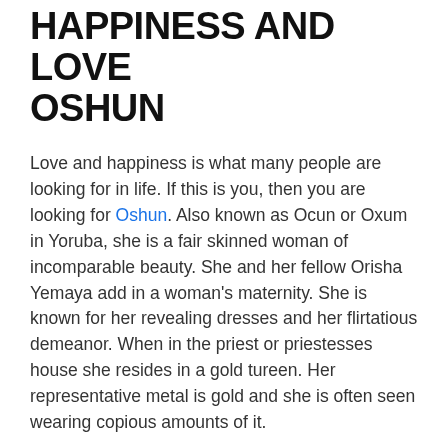HAPPINESS AND LOVE OSHUN
Love and happiness is what many people are looking for in life. If this is you, then you are looking for Oshun. Also known as Ocun or Oxum in Yoruba, she is a fair skinned woman of incomparable beauty. She and her fellow Orisha Yemaya add in a woman's maternity. She is known for her revealing dresses and her flirtatious demeanor. When in the priest or priestesses house she resides in a gold tureen. Her representative metal is gold and she is often seen wearing copious amounts of it.
The story of Ochun is this. One day, as Ochun was preparing for a party, she